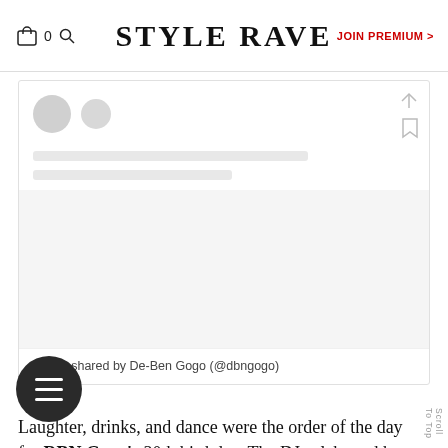STYLE RAVE  |  JOIN PREMIUM >
[Figure (screenshot): Social media embed card showing a post shared by De-Ben Gogo (@dbngogo) with avatar, placeholder lines, and image area]
A post shared by De-Ben Gogo (@dbngogo)
Laughter, drinks, and dance were the order of the day for DBN Gogo's 30th birthday. The DJ celebrated her birthday with a black and red-themed dinner party with close friends and family. The “Khuza Gogo” hitmaker